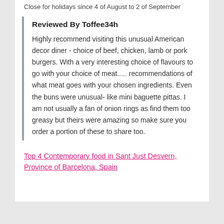Close for holidays since 4 of August to 2 of September
Reviewed By Toffee34h
Highly recommend visiting this unusual American decor diner - choice of beef, chicken, lamb or pork burgers. With a very interesting choice of flavours to go with your choice of meat..... recommendations of what meat goes with your chosen ingredients. Even the buns were unusual- like mini baguette pittas. I am not usually a fan of onion rings as find them too greasy but theirs were amazing so make sure you order a portion of these to share too.
Top 4 Contemporary food in Sant Just Desvern, Province of Barcelona, Spain